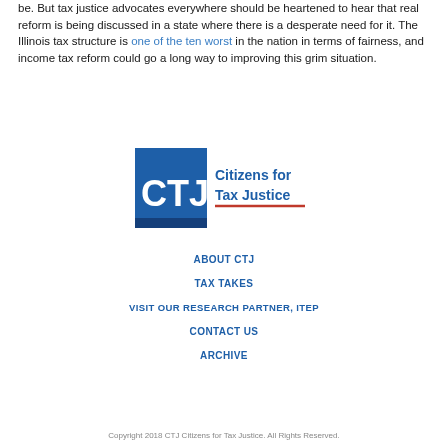be. But tax justice advocates everywhere should be heartened to hear that real reform is being discussed in a state where there is a desperate need for it. The Illinois tax structure is one of the ten worst in the nation in terms of fairness, and income tax reform could go a long way to improving this grim situation.
[Figure (logo): CTJ Citizens for Tax Justice logo — blue square with CTJ letters and organization name to the right with red underline]
ABOUT CTJ
TAX TAKES
VISIT OUR RESEARCH PARTNER, ITEP
CONTACT US
ARCHIVE
Copyright 2018 CTJ Citizens for Tax Justice. All Rights Reserved.